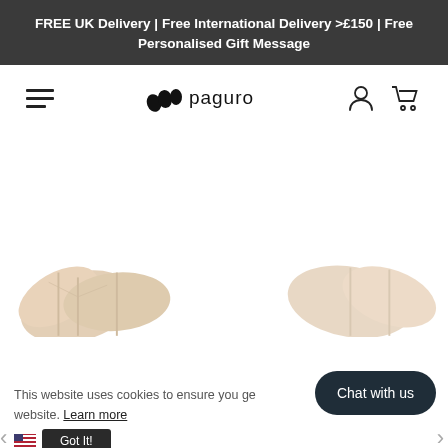FREE UK Delivery | Free International Delivery >£150 | Free Personalised Gift Message
[Figure (logo): Paguro brand logo with hamburger menu, stylized shell logo mark with 'paguro' text, and user account and shopping cart icons]
[Figure (photo): Decorative product preview with monstera leaf pattern items at the bottom of the page]
This website uses cookies to ensure you ge... on our website. Learn more
Chat with us
Got It!